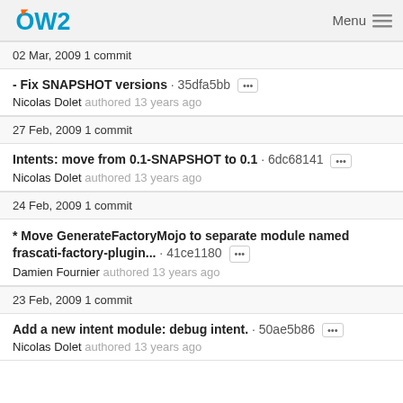OW2 Menu
02 Mar, 2009 1 commit
- Fix SNAPSHOT versions · 35dfa5bb
Nicolas Dolet authored 13 years ago
27 Feb, 2009 1 commit
Intents: move from 0.1-SNAPSHOT to 0.1 · 6dc68141
Nicolas Dolet authored 13 years ago
24 Feb, 2009 1 commit
* Move GenerateFactoryMojo to separate module named frascati-factory-plugin... · 41ce1180
Damien Fournier authored 13 years ago
23 Feb, 2009 1 commit
Add a new intent module: debug intent. · 50ae5b86
Nicolas Dolet authored 13 years ago